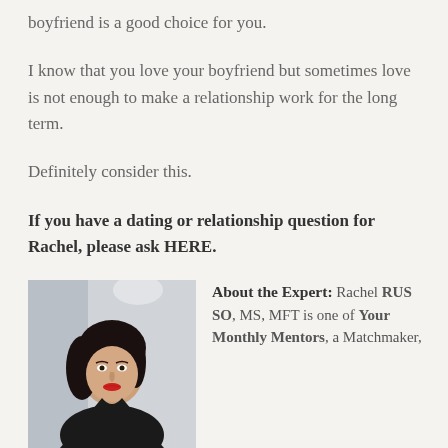boyfriend is a good choice for you.
I know that you love your boyfriend but sometimes love is not enough to make a relationship work for the long term.
Definitely consider this.
If you have a dating or relationship question for Rachel, please ask HERE.
[Figure (photo): Portrait photo of a woman with dark hair wearing a black top, posed against a light grey background.]
About the Expert: Rachel RUSSO, MS, MFT is one of Your Monthly Mentors, a Matchmaker,